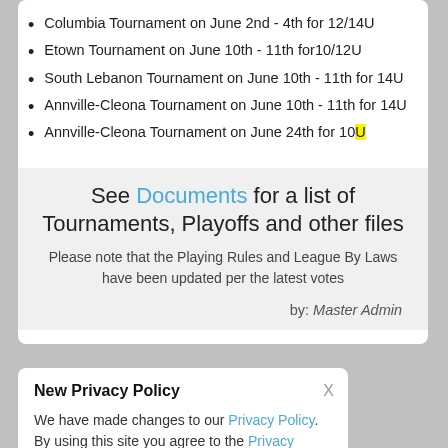Columbia Tournament on June 2nd - 4th for 12/14U
Etown Tournament on June 10th - 11th for10/12U
South Lebanon Tournament on June 10th - 11th for 14U
Annville-Cleona Tournament on June 10th - 11th for 14U
Annville-Cleona Tournament on June 24th for 10U
See Documents for a list of Tournaments, Playoffs and other files
Please note that the Playing Rules and League By Laws have been updated per the latest votes
by: Master Admin
New Privacy Policy
We have made changes to our Privacy Policy. By using this site you agree to the Privacy Policy and Terms of Service.